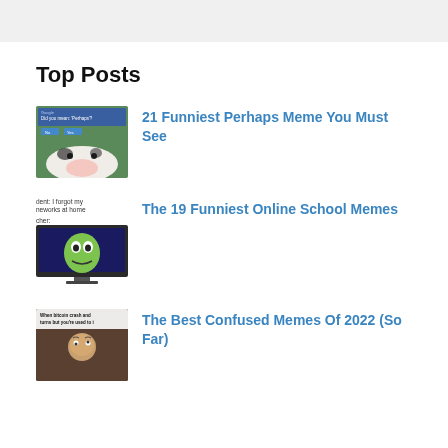Top Posts
[Figure (screenshot): Thumbnail image of a Perhaps meme showing a cow face with a 'Did you mean: Perhaps?' search result overlay]
21 Funniest Perhaps Meme You Must See
[Figure (screenshot): Thumbnail showing a meme about online school: text reading 'dent: I forgot my neworks at home' and 'cher:' with an image of a green monster character on a computer screen]
The 19 Funniest Online School Memes
[Figure (screenshot): Thumbnail showing a meme about bitcoin crash with text 'When bitcoin crash and turns but you're used to i']
The Best Confused Memes Of 2022 (So Far)